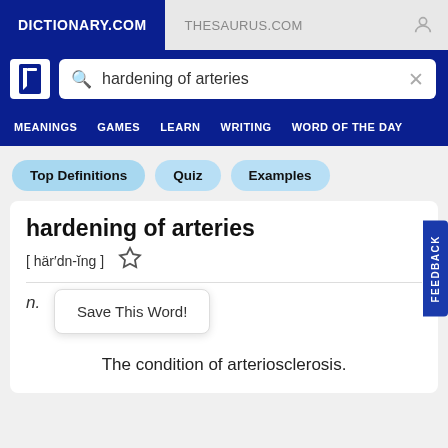DICTIONARY.COM | THESAURUS.COM
hardening of arteries (search query)
MEANINGS  GAMES  LEARN  WRITING  WORD OF THE DAY
Top Definitions
Quiz
Examples
hardening of arteries
[ här′dn-ĭng ]
Save This Word!
n.
The condition of arteriosclerosis.